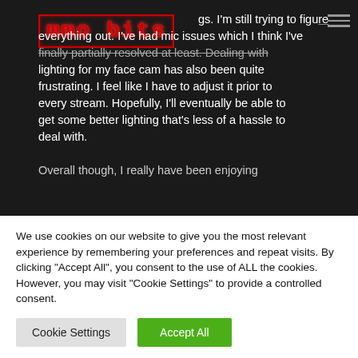[Figure (logo): mmo bits logo in red pixelated font with border]
gs. I'm still trying to figure everything out. I've had mic issues which I think I've finally partially resolved at least. Dealing with lighting for my face cam has also been quite frustrating. I feel like I have to adjust it prior to every stream. Hopefully, I'll eventually be able to get some better lighting that's less of a hassle to deal with.

Overall though, I really have been enjoying
We use cookies on our website to give you the most relevant experience by remembering your preferences and repeat visits. By clicking "Accept All", you consent to the use of ALL the cookies. However, you may visit "Cookie Settings" to provide a controlled consent.